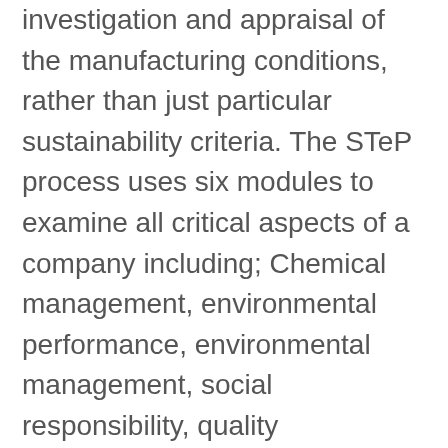investigation and appraisal of the manufacturing conditions, rather than just particular sustainability criteria. The STeP process uses six modules to examine all critical aspects of a company including; Chemical management, environmental performance, environmental management, social responsibility, quality management and health protection and safety at work
The goal of STeP certification is to ensure that environmentally friendly production methods, social working conditions, and maximum health and safety are implemented over time.
DETOX TO ZERO by OEKO-TEX